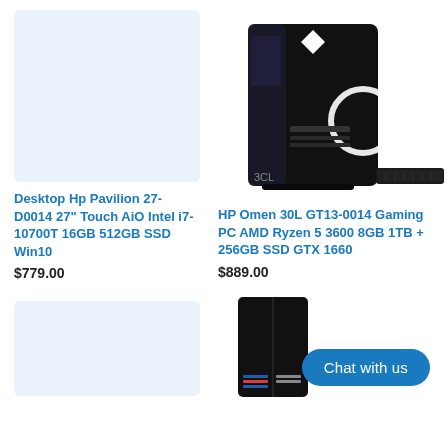[Figure (photo): Light blue placeholder box for HP Pavilion desktop product image]
[Figure (photo): HP Omen 30L GT13-0014 Gaming PC tower with glowing ring, shown with keyboard]
Desktop Hp Pavilion 27-D0014 27" Touch AiO Intel i7-10700T 16GB 512GB SSD Win10
$779.00
HP Omen 30L GT13-0014 Gaming PC AMD Ryzen 5 3600 8GB 1TB + 256GB SSD GTX 1660
$889.00
[Figure (photo): Light blue placeholder box for second product image]
[Figure (photo): Partial view of black gaming PC tower (bottom right of page)]
Chat with us